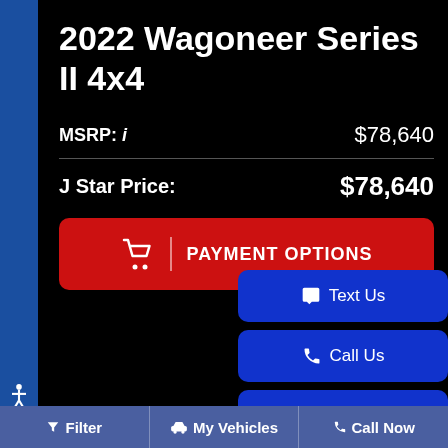2022 Wagoneer Series II 4x4
MSRP: i  $78,640
J Star Price:  $78,640
PAYMENT OPTIONS
Text Us
Call Us
Apply Now
Filter  My Vehicles  Call Now